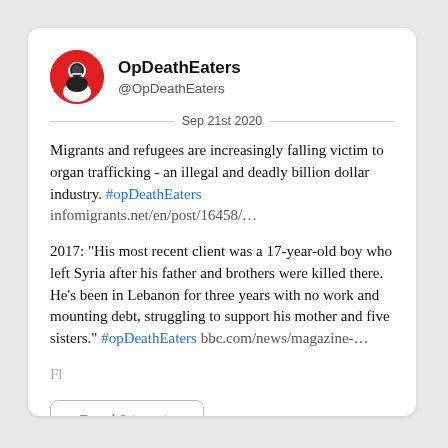OpDeathEaters
@OpDeathEaters
Sep 21st 2020
Migrants and refugees are increasingly falling victim to organ trafficking - an illegal and deadly billion dollar industry. #opDeathEaters infomigrants.net/en/post/16458/…
2017: "His most recent client was a 17-year-old boy who left Syria after his father and brothers were killed there. He's been in Lebanon for three years with no work and mounting debt, struggling to support his mother and five sisters." #opDeathEaters bbc.com/news/magazine-…
Fl...
Read 3 tweets